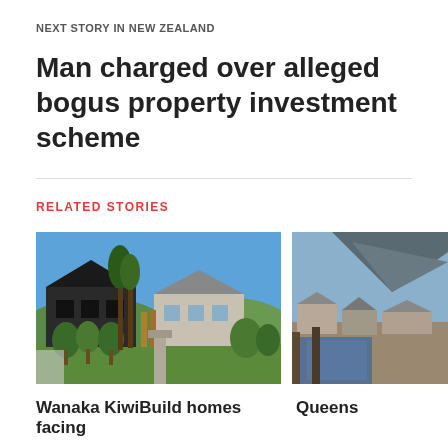NEXT STORY IN NEW ZEALAND
Man charged over alleged bogus property investment scheme
RELATED STORIES
[Figure (photo): Exterior photo of modern New Zealand residential homes with dark cladding, wooden fencing, trees and blue sky in background - KiwiBuild homes in Wanaka]
Wanaka KiwiBuild homes facing
[Figure (photo): Partial photo of Queenstown area homes with mountain visible in background]
Queens